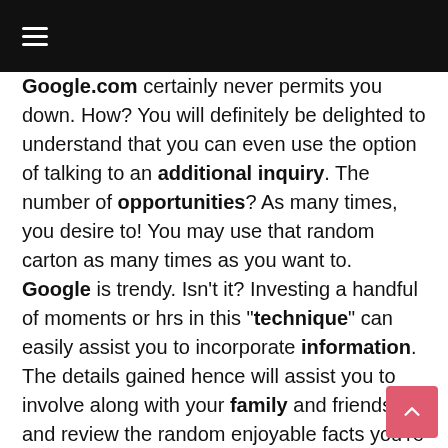≡
Google.com certainly never permits you down. How? You will definitely be delighted to understand that you can even use the option of talking to an additional inquiry. The number of opportunities? As many times, you desire to! You may use that random carton as many times as you want to. Google is trendy. Isn't it? Investing a handful of moments or hrs in this "technique" can easily assist you to incorporate information. The details gained hence will assist you to involve along with your family and friends and review the random enjoyable facts you're searching concerning or even also provide recommendations.